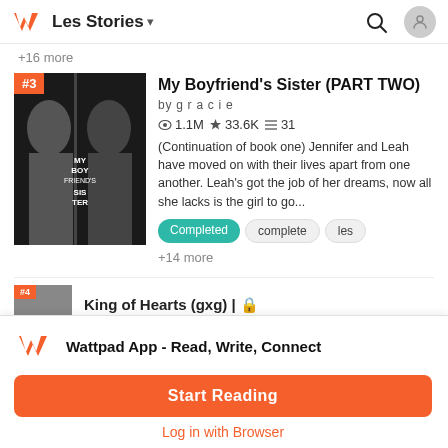Les Stories
+16 more
[Figure (screenshot): Book cover for My Boyfriend's Sister (PART TWO) showing two women in black and white with orange #3 badge]
My Boyfriend's Sister (PART TWO)
by g r a c i e
1.1M 33.6K 31
(Continuation of book one) Jennifer and Leah have moved on with their lives apart from one another. Leah's got the job of her dreams, now all she lacks is the girl to go...
Completed
complete
les
+14 more
King of Hearts (gxg) | 🔒
Wattpad App - Read, Write, Connect
Start Reading
Log in with Browser